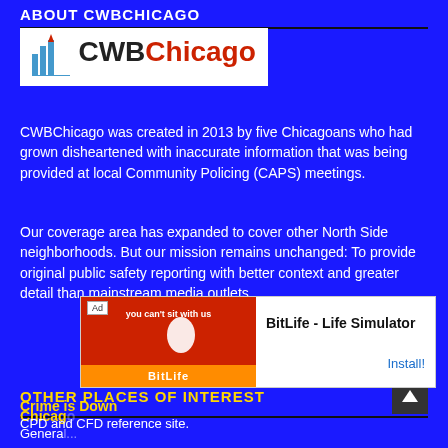ABOUT CWBCHICAGO
[Figure (logo): CWBChicago logo with Chicago skyline icon in blue/red and text 'CWBChicago' in black and red]
CWBChicago was created in 2013 by five Chicagoans who had grown disheartened with inaccurate information that was being provided at local Community Policing (CAPS) meetings.
Our coverage area has expanded to cover other North Side neighborhoods. But our mission remains unchanged: To provide original public safety reporting with better context and greater detail than mainstream media outlets.
OTHER PLACES OF INTEREST
[Figure (screenshot): Advertisement overlay: BitLife - Life Simulator app ad with Install! button]
Chicago...
Genera...
Crime is Down
CPD and CFD reference site.